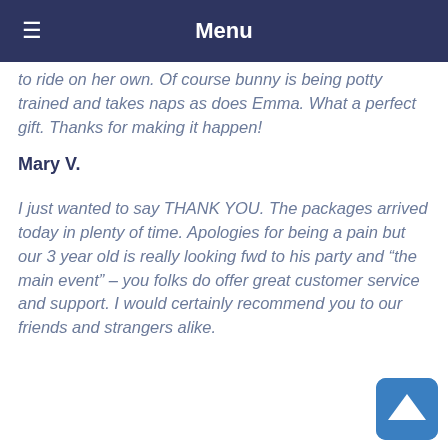Menu
to ride on her own. Of course bunny is being potty trained and takes naps as does Emma. What a perfect gift. Thanks for making it happen!
Mary V.
I just wanted to say THANK YOU. The packages arrived today in plenty of time. Apologies for being a pain but our 3 year old is really looking fwd to his party and “the main event” – you folks do offer great customer service and support. I would certainly recommend you to our friends and strangers alike.